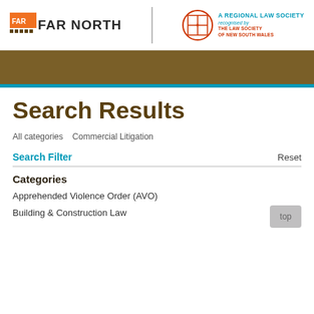[Figure (logo): Far North law firm logo with orange square icon and bold text]
[Figure (logo): A Regional Law Society recognised by The Law Society of New South Wales shield logo]
Search Results
All categories   Commercial Litigation
Search Filter
Reset
Categories
Apprehended Violence Order (AVO)
Building & Construction Law